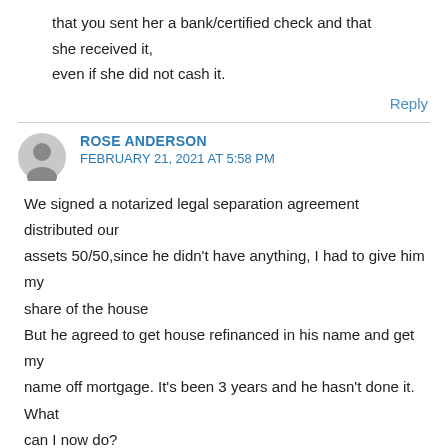that you sent her a bank/certified check and that she received it, even if she did not cash it.
Reply
ROSE ANDERSON
FEBRUARY 21, 2021 AT 5:58 PM
We signed a notarized legal separation agreement distributed our assets 50/50,since he didn't have anything, I had to give him my share of the house
But he agreed to get house refinanced in his name and get my name off mortgage. It's been 3 years and he hasn't done it. What can I now do?
Reply
GINITA WALL, CPA, CFP®